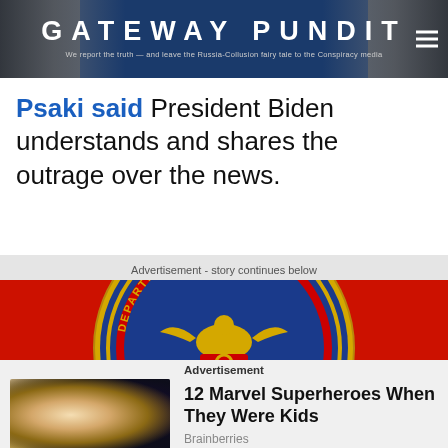GATEWAY PUNDIT — We report the truth — and leave the Russia-Collusion fairy tale to the Conspiracy media
Psaki said President Biden understands and shares the outrage over the news.
Advertisement - story continues below
[Figure (photo): Department of the Navy seal/emblem on a red background advertisement banner]
Advertisement
[Figure (photo): Thumbnail showing a young blonde girl and a blue-skinned Marvel character (Mystique)]
12 Marvel Superheroes When They Were Kids
Brainberries